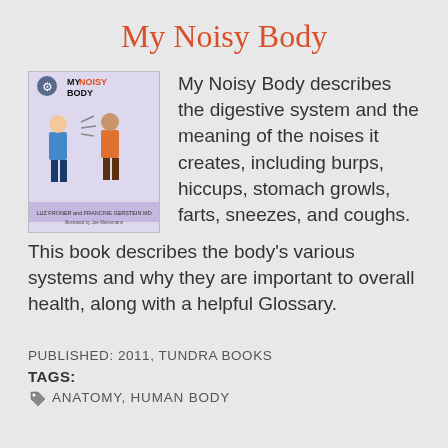My Noisy Body
[Figure (illustration): Book cover of 'My Noisy Body' featuring two cartoon children and the book title, with authors listed below.]
My Noisy Body describes the digestive system and the meaning of the noises it creates, including burps, hiccups, stomach growls, farts, sneezes, and coughs. This book describes the body's various systems and why they are important to overall health, along with a helpful Glossary.
PUBLISHED: 2011, TUNDRA BOOKS
TAGS:
ANATOMY, HUMAN BODY